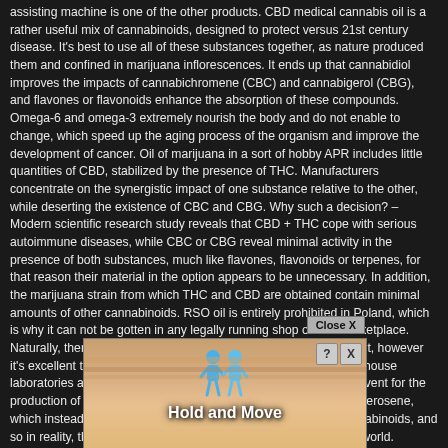assisting machine is one of the other products. CBD medical cannabis oil is a rather useful mix of cannabinoids, designed to protect versus 21st century disease. It's best to use all of these substances together, as nature produced them and confined in marijuana inflorescences. It ends up that cannabidiol improves the impacts of cannabichromene (CBC) and cannabigerol (CBG), and flavones or flavonoids enhance the absorption of these compounds. Omega-6 and omega-3 extremely nourish the body and do not enable to change, which speed up the aging process of the organism and improve the development of cancer. Oil of marijuana in a sort of hobby APR includes little quantities of CBD, stabilized by the presence of THC. Manufacturers concentrate on the synergistic impact of one substance relative to the other, while deserting the existence of CBC and CBG. Why such a decision? – Modern scientific research study reveals that CBD + THC cope with serious autoimmune diseases, while CBC or CBG reveal minimal activity in the presence of both substances, much like flavones, flavonoids or terpenes, for that reason their material in the option appears to be unnecessary. In addition, the marijuana strain from which THC and CBD are obtained contain minimal amounts of other cannabinoids. RSO oil is entirely prohibited in Poland, which is why it can not be gotten in any legally running shop on the marketplace. Naturally, there are a variety of amateur approaches for acquiring it, however it's excellent to understand that compounds obtained artificially in house laboratories are unsure, untried, and the impact unknown. The solvent for the production of household RSO is generally fuel, alcohol and even kerosene, which instead of treating, toxin. Alcohols and their like impair cannabinoids, and so in reality, they do not bring anything brand-new to the medical world. Cannabis oil has currently marked a brand-new age in which man ceased to fear what is actually a lethal disease, however cannabis oil is not a cure and strange reports about acquiring cannabis by ill people had currently had, contrary though it all and the recommendation to refrain from marijuana, contrary...
[Figure (screenshot): Advertisement overlay showing 'Hold and Move' app/game with two blue cartoon figures and a Close X button]